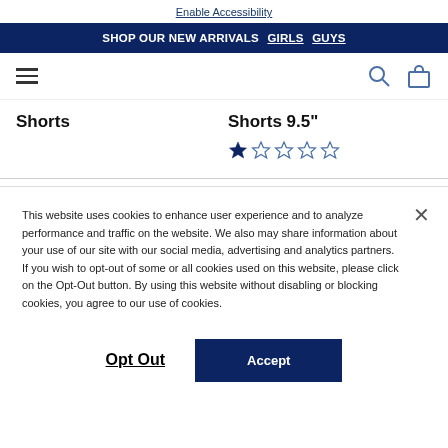Enable Accessibility
SHOP OUR NEW ARRIVALS  GIRLS  GUYS
Shorts
Shorts 9.5"
This website uses cookies to enhance user experience and to analyze performance and traffic on the website. We also may share information about your use of our site with our social media, advertising and analytics partners. If you wish to opt-out of some or all cookies used on this website, please click on the Opt-Out button. By using this website without disabling or blocking cookies, you agree to our use of cookies.
Opt Out
Accept